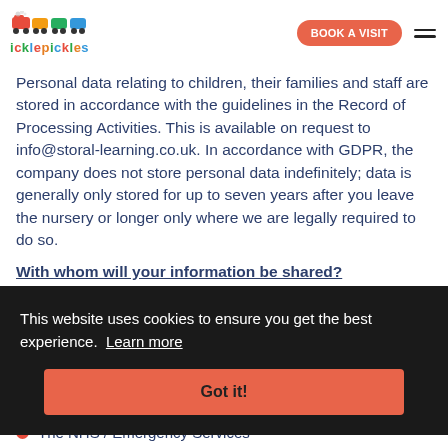icklepickles — BOOK A VISIT
Personal data relating to children, their families and staff are stored in accordance with the guidelines in the Record of Processing Activities. This is available on request to info@storal-learning.co.uk. In accordance with GDPR, the company does not store personal data indefinitely; data is generally only stored for up to seven years after you leave the nursery or longer only where we are legally required to do so.
With whom will your information be shared?
This website uses cookies to ensure you get the best experience. Learn more
Got it!
The NHS / Emergency Services